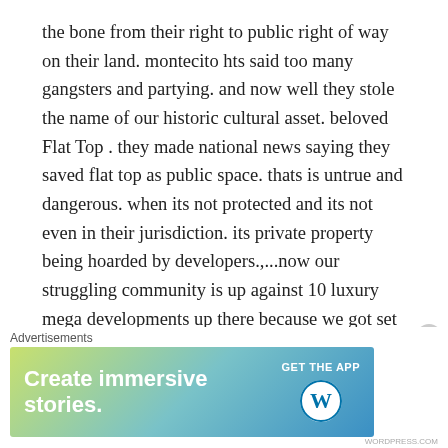the bone from their right to public right of way on their land. montecito hts said too many gangsters and partying. and now well they stole the name of our historic cultural asset. beloved Flat Top . they made national news saying they saved flat top as public space. thats is untrue and dangerous. when its not protected and its not even in their jurisdiction. its private property being hoarded by developers.,...now our struggling community is up against 10 luxury mega developments up there because we got set up.. its not a park and its not saved. and its not montecito heights. somebody needs to call up hilda solis and cedillo and tell them to retract the fale press “Gil cedillo saves beloved Flat top as public park” . the map on this page is the same one thats on nextdoor. hate to say it but the only
Advertisements
[Figure (screenshot): WordPress advertisement banner: 'Create immersive stories. GET THE APP' with WordPress logo on a blue-green gradient background]